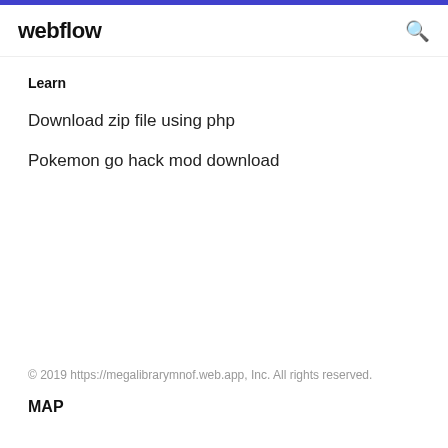webflow
Learn
Download zip file using php
Pokemon go hack mod download
© 2019 https://megalibrarymnof.web.app, Inc. All rights reserved.
MAP